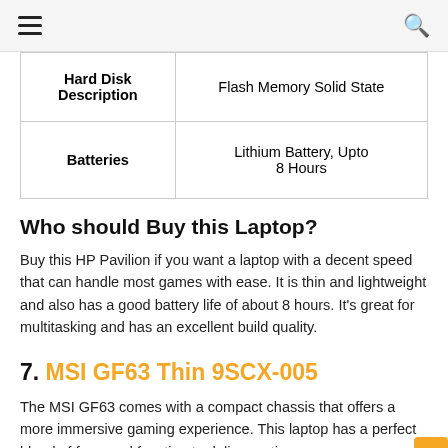☰  [search icon]
| Hard Disk Description | Flash Memory Solid State |
| Batteries | Lithium Battery, Upto 8 Hours |
Who should Buy this Laptop?
Buy this HP Pavilion if you want a laptop with a decent speed that can handle most games with ease. It is thin and lightweight and also has a good battery life of about 8 hours. It's great for multitasking and has an excellent build quality.
7. MSI GF63 Thin 9SCX-005
The MSI GF63 comes with a compact chassis that offers a more immersive gaming experience. This laptop has a perfect blend of form and function to deliver optimum